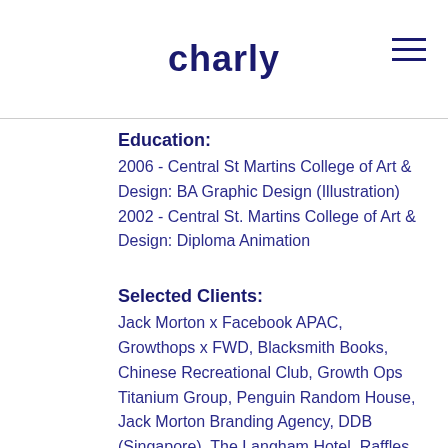charly
Education:
2006 - Central St Martins College of Art & Design: BA Graphic Design (Illustration)
2002 - Central St. Martins College of Art & Design: Diploma Animation
Selected Clients:
Jack Morton x Facebook APAC, Growthops x FWD, Blacksmith Books, Chinese Recreational Club, Growth Ops Titanium Group, Penguin Random House, Jack Morton Branding Agency, DDB (Singapore), The Langham Hotel, Raffles Hotel Singapore, Inter Continental Hotel, Yan Toh Heen Restaurant, Carries Corner Jewelry, Real Reads Publishing